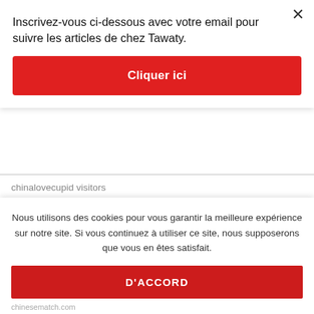Inscrivez-vous ci-dessous avec votre email pour suivre les articles de chez Tawaty.
Cliquer ici
chinalovecupid visitors
Chinese Dating hookup site
chinese dating sign in
Chinese Dating Sites Apps reddit
Chinese Dating Sites username
Nous utilisons des cookies pour vous garantir la meilleure expérience sur notre site. Si vous continuez à utiliser ce site, nous supposerons que vous en êtes satisfait.
D'ACCORD
chinesematch.com